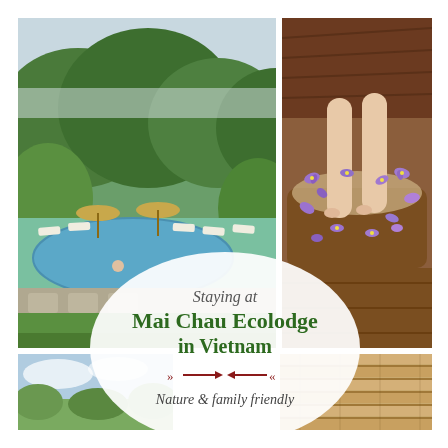[Figure (photo): Pool area with lounge chairs, thatched-roof umbrellas, lush green mountains and clouds in background, person in pool]
[Figure (photo): Close-up of feet in wooden tub filled with water and purple flowers, foot soak spa treatment]
[Figure (photo): Blue sky and landscape, bottom-left corner partial view]
[Figure (photo): Bamboo texture pattern, bottom-right corner]
Staying at Mai Chau Ecolodge in Vietnam
Nature & family friendly